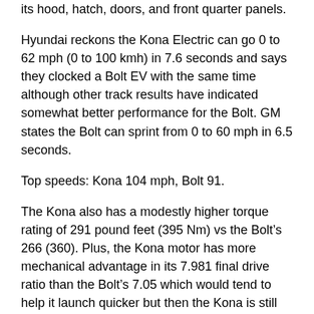its hood, hatch, doors, and front quarter panels.
Hyundai reckons the Kona Electric can go 0 to 62 mph (0 to 100 kmh) in 7.6 seconds and says they clocked a Bolt EV with the same time although other track results have indicated somewhat better performance for the Bolt. GM states the Bolt can sprint from 0 to 60 mph in 6.5 seconds.
Top speeds: Kona 104 mph, Bolt 91.
The Kona also has a modestly higher torque rating of 291 pound feet (395 Nm) vs the Bolt’s 266 (360). Plus, the Kona motor has more mechanical advantage in its 7.981 final drive ratio than the Bolt’s 7.05 which would tend to help it launch quicker but then the Kona is still 180 pounds heavier.
Because the Kona motor shares similar power specs with the Bolt motor, and because the Bolt motor is manufactured by LG, some have speculated that Hyundai is buying the same motor from LG. In reality, the two motor designs do not look similar and there is no evidence of major shared components between the cars aside from the LG battery cells which may be closely related.